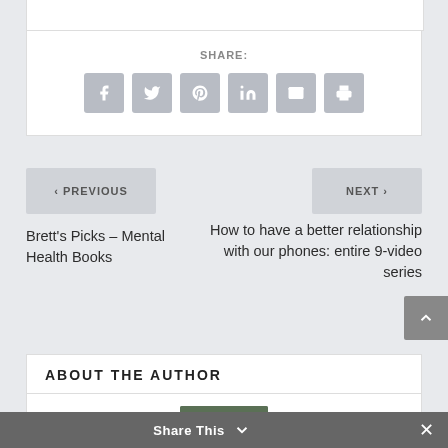SHARE:
[Figure (infographic): Social share icons: Facebook, Twitter, Pinterest, LinkedIn, Email, Print]
< PREVIOUS
NEXT >
Brett's Picks – Mental Health Books
How to have a better relationship with our phones: entire 9-video series
ABOUT THE AUTHOR
[Figure (photo): Author photo - person in dark shirt outdoors]
Share This